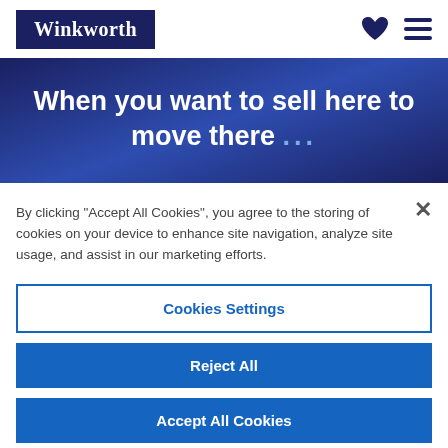Winkworth
When you want to sell here to move there ...
By clicking "Accept All Cookies", you agree to the storing of cookies on your device to enhance site navigation, analyze site usage, and assist in our marketing efforts.
Cookies Settings
Reject All
Accept All Cookies